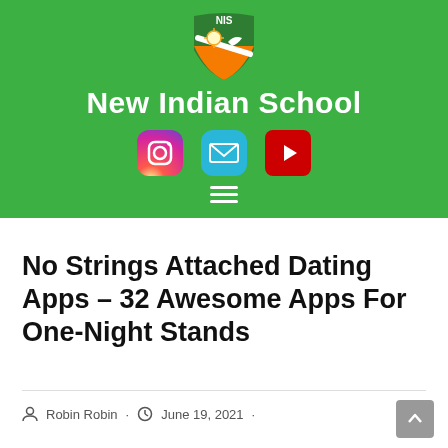[Figure (logo): New Indian School website header with green background, NIS shield logo, site title, social media icons (Instagram, email, YouTube), and hamburger menu]
No Strings Attached Dating Apps – 32 Awesome Apps For One-Night Stands
Robin Robin · June 19, 2021 ·